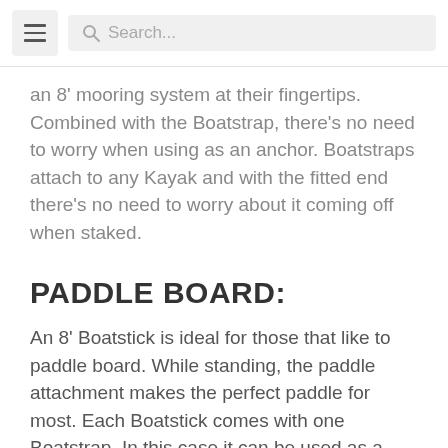[hamburger menu] [Search...]
an 8' mooring system at their fingertips.  Combined with the Boatstrap, there's no need to worry when using as an anchor.  Boatstraps attach to any Kayak and with the fitted end there's no need to worry about it coming off when staked.
PADDLE BOARD:
An 8' Boatstick is ideal for those that like to paddle board. While standing, the paddle attachment makes the perfect paddle for most. Each Boatstick comes with one Boatstrap. In this case it can be used as a lanyard for safety in case you drop your paddle. No need to paddle back to the dock or boat when stopping. Remove the paddle and use your Boatstick as an anchor to hold...